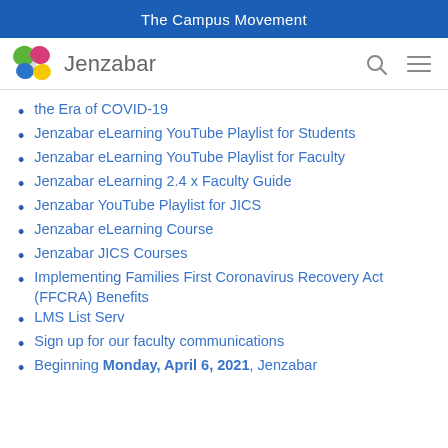The Campus Movement
[Figure (logo): Jenzabar butterfly logo and wordmark with search and menu icons]
the Era of COVID-19
Jenzabar eLearning YouTube Playlist for Students
Jenzabar eLearning YouTube Playlist for Faculty
Jenzabar eLearning 2.4 x Faculty Guide
Jenzabar YouTube Playlist for JICS
Jenzabar eLearning Course
Jenzabar JICS Courses
Implementing Families First Coronavirus Recovery Act (FFCRA) Benefits
LMS List Serv
Sign up for our faculty communications
Beginning Monday, April 6, 2021, Jenzabar